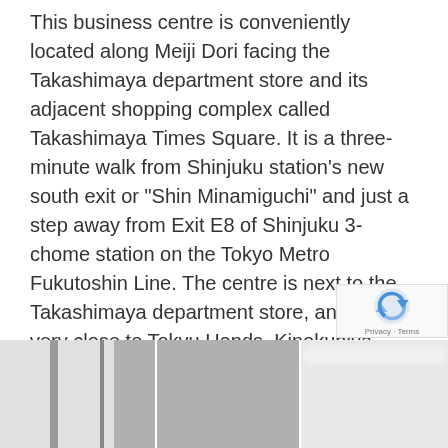This business centre is conveniently located along Meiji Dori facing the Takashimaya department store and its adjacent shopping complex called Takashimaya Times Square. It is a three-minute walk from Shinjuku station's new south exit or "Shin Minamiguchi" and just a step away from Exit E8 of Shinjuku 3-chome station on the Tokyo Metro Fukutoshin Line. The centre is next to the Takashimaya department store, and also very close to Tokyu Hands, Kinokuniya bookstore, restaurants and other specialty stores. The current south exit area is being redeveloped. A 33-story building will be completed by the spring of 2016 together with the opening of another station with plans to build a bus terminal which will further enhance accessibility to the outskirts of Tokyo and other cities in Japan.
[Figure (photo): Two side-by-side interior photos of a business centre. Left photo shows a white wall with vertical panels and dark accents. Right photo shows an interior room with ceiling lights and dark shelving/furniture.]